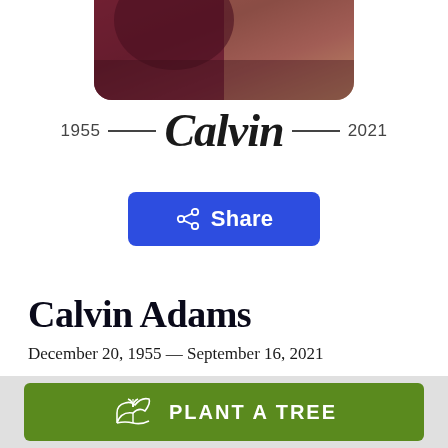[Figure (photo): Partial portrait photo of Calvin Adams, showing dark reddish clothing and light background, cropped at top of page]
1955 — Calvin — 2021
[Figure (other): Blue Share button with share icon]
Calvin Adams
December 20, 1955 — September 16, 2021
[Figure (other): Green Plant a Tree button with plant/hand icon]